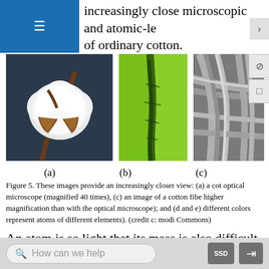increasingly close microscopic and atomic-level views of ordinary cotton.
[Figure (photo): Three photos: (a) a cotton boll on a plant, (b) a cotton fiber viewed under an optical microscope (magnified 40 times) against green background, (c) an SEM image of cotton fibers in gray showing woven texture]
(a)    (b)    (c)
Figure 5. These images provide an increasingly closer view: (a) a cotton plant, (b) viewed under an optical microscope (magnified 40 times), (c) an image of a cotton fiber seen with an electron microscope (at higher magnification than with the optical microscope); and (d and e) atoms (where different colors represent atoms of different elements). (credit c: modification, Wikimedia Commons)
An atom is so light that its mass is also difficult to imagine. A billion lead atoms (1,000,000,000 atoms)